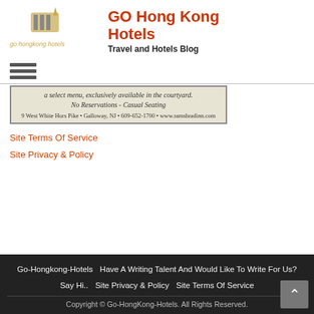[Figure (logo): Go Hongkong Hotels logo with stylized accordion and text 'go hongkong hotels']
GO Hong Kong Hotels
Travel and Hotels Blog
[Figure (other): Hamburger menu icon with three horizontal lines]
[Figure (other): Advertisement box: 'a select menu, exclusively available in the courtyard. No Reservations - Casual Seating. 9 West White Hors Pike • Galloway, NJ • 609-652-1700 • www.ramshradinn.com']
Site Terms Of Service
Site Privacy & Policy
Go-Hongkong-Hotels   Have A Writing Talent And Would Like To Write For Us?   Say Hi..   Site Privacy & Policy   Site Terms Of Service
Copyright © Go-HongKong-Hotels. All Rights Reserved.